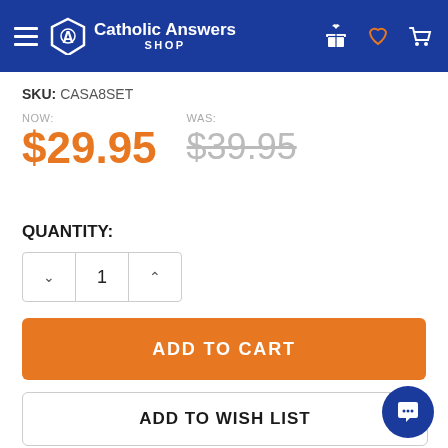Catholic Answers SHOP
SKU: CASA8SET
NOW: $29.95  WAS: $39.95
QUANTITY:
ADD TO CART
ADD TO WISH LIST